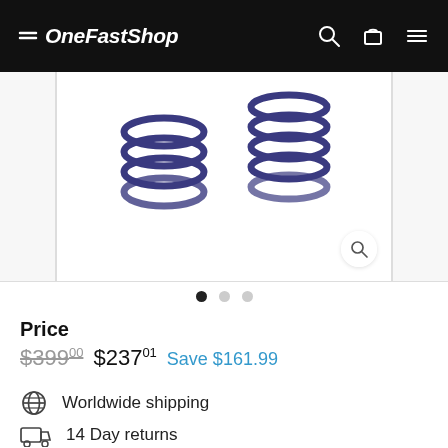OneFastShop
[Figure (photo): Product photo of blue/purple coil springs on white background, shown in a carousel with zoom button]
• • •  (carousel dots, first active)
Price
$399.00  $237.01  Save $161.99
Worldwide shipping
14 Day returns
Secure payments